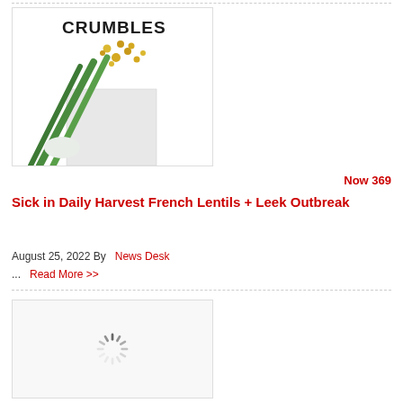[Figure (photo): Product image of Daily Harvest French Lentils + Leek Crumbles package with green leeks and yellow lentils visible on white background with text CRUMBLES]
Now 369
Sick in Daily Harvest French Lentils + Leek Outbreak
August 25, 2022 By   News Desk
...   Read More >>
[Figure (screenshot): Loading spinner / placeholder image for second article]